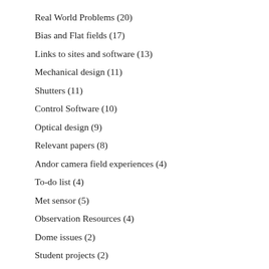Real World Problems (20)
Bias and Flat fields (17)
Links to sites and software (13)
Mechanical design (11)
Shutters (11)
Control Software (10)
Optical design (9)
Relevant papers (8)
Andor camera field experiences (4)
To-do list (4)
Met sensor (5)
Observation Resources (4)
Dome issues (2)
Student projects (2)